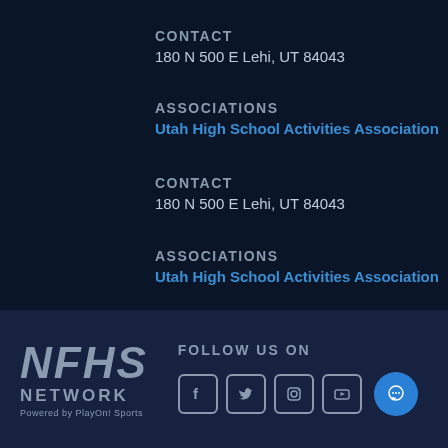CONTACT
180 N 500 E Lehi, UT 84043
ASSOCIATIONS
Utah High School Activities Association
CONTACT
180 N 500 E Lehi, UT 84043
ASSOCIATIONS
Utah High School Activities Association
[Figure (logo): NFHS Network logo with text 'NFHS NETWORK Powered by PlayOn! Sports' in gray on dark blue background]
FOLLOW US ON
[Figure (infographic): Social media icons: Facebook, Twitter, Instagram, YouTube (gray bordered squares) and a blue circular chat/message icon]